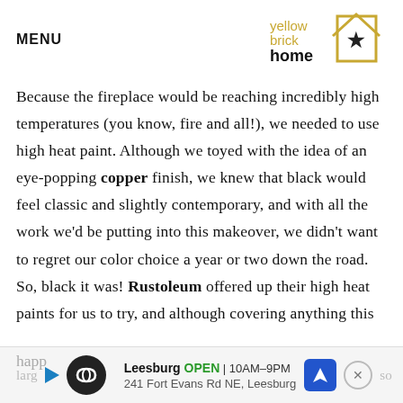MENU
[Figure (logo): Yellow Brick Home logo with house outline, star, and text 'yellow brick home']
Because the fireplace would be reaching incredibly high temperatures (you know, fire and all!), we needed to use high heat paint. Although we toyed with the idea of an eye-popping copper finish, we knew that black would feel classic and slightly contemporary, and with all the work we'd be putting into this makeover, we didn't want to regret our color choice a year or two down the road. So, black it was! Rustoleum offered up their high heat paints for us to try, and although covering anything this
[Figure (infographic): Advertisement bar: Leesburg OPEN 10AM-9PM, 241 Fort Evans Rd NE, Leesburg with navigation icon and close button]